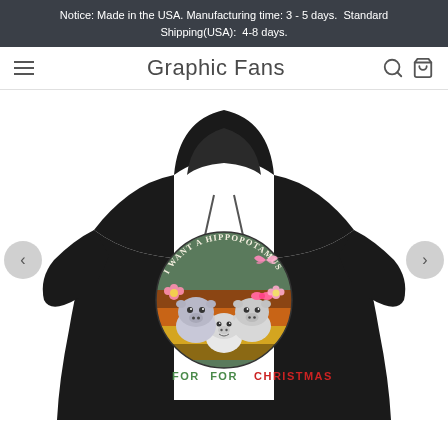Notice: Made in the USA. Manufacturing time: 3 - 5 days.  Standard Shipping(USA):  4-8 days.
Graphic Fans
[Figure (photo): Black hoodie with cartoon hippo family graphic on front. The graphic shows three cute cartoon hippos in a vintage sunset circle design with text reading 'I Want A Hippopotamus For Christmas'. Navigation arrows on both sides.]